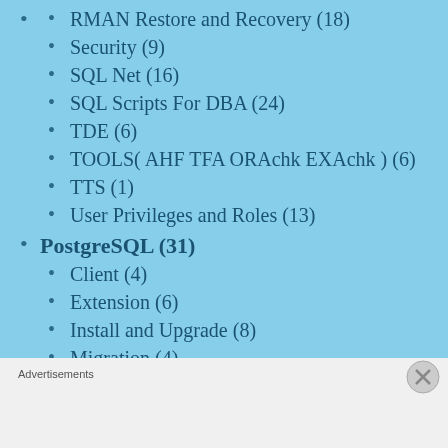RMAN Restore and Recovery (18)
Security (9)
SQL Net (16)
SQL Scripts For DBA (24)
TDE (6)
TOOLS( AHF TFA ORAchk EXAchk ) (6)
TTS (1)
User Privileges and Roles (13)
PostgreSQL (31)
Client (4)
Extension (6)
Install and Upgrade (8)
Migration (4)
Objects (4)
Advertisements